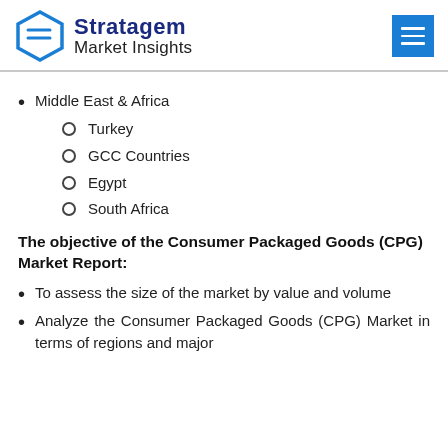Stratagem Market Insights
Middle East & Africa
Turkey
GCC Countries
Egypt
South Africa
The objective of the Consumer Packaged Goods (CPG) Market Report:
To assess the size of the market by value and volume
Analyze the Consumer Packaged Goods (CPG) Market in terms of regions and major